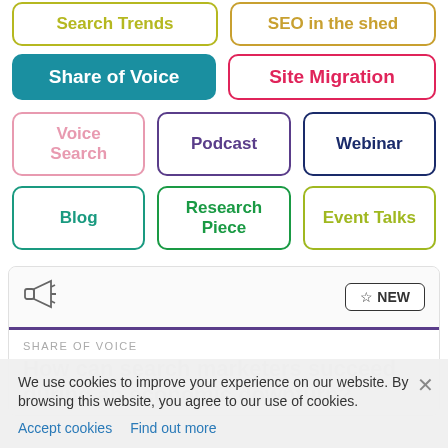Search Trends
SEO in the shed
Share of Voice
Site Migration
Voice Search
Podcast
Webinar
Blog
Research Piece
Event Talks
SHARE OF VOICE
How can search marketers succeed during an economic downturn?
We use cookies to improve your experience on our website. By browsing this website, you agree to our use of cookies.
Accept cookies   Find out more